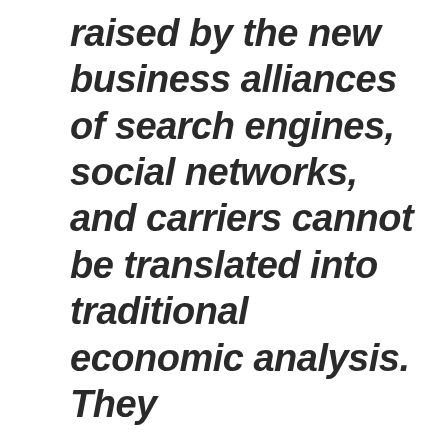raised by the new business alliances of search engines, social networks, and carriers cannot be translated into traditional economic analysis. They